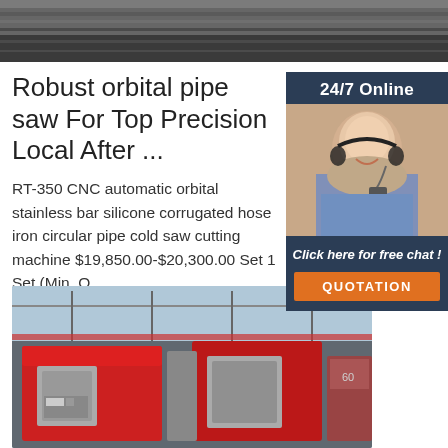[Figure (photo): Top image showing metallic industrial surface, close-up of manufacturing equipment]
Robust orbital pipe saw For Top Precision Local After ...
RT-350 CNC automatic orbital stainless bar silicone corrugated hose iron circular pipe cold saw cutting machine $19,850.00-$20,300.00 Set 1 Set (Min. O
[Figure (photo): Customer service representative with headset smiling, 24/7 Online chat sidebar widget with QUOTATION button]
[Figure (photo): Bottom image showing industrial factory floor with red CNC orbital pipe cutting machines]